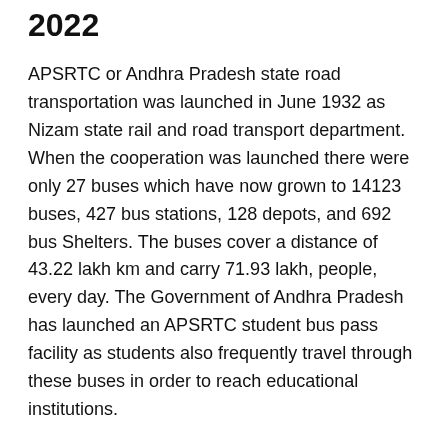2022
APSRTC or Andhra Pradesh state road transportation was launched in June 1932 as Nizam state rail and road transport department. When the cooperation was launched there were only 27 buses which have now grown to 14123 buses, 427 bus stations, 128 depots, and 692 bus Shelters. The buses cover a distance of 43.22 lakh km and carry 71.93 lakh, people, every day. The Government of Andhra Pradesh has launched an APSRTC student bus pass facility as students also frequently travel through these buses in order to reach educational institutions.
The application to get a bus pass can be done online. Now students are not required to visit any government offices in order to apply for the bus pass. This will save a lot of time and money and will also bring transparency to the system. Now students are also not required to purchase tickets every